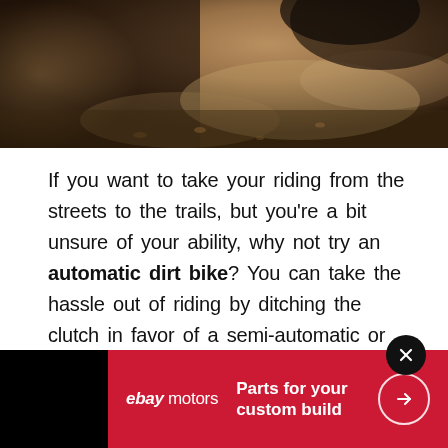[Figure (photo): Close-up photo of a dirt bike tire on sandy/muddy trail ground, warm brown earthy tones]
If you want to take your riding from the streets to the trails, but you’re a bit unsure of your ability, why not try an automatic dirt bike? You can take the hassle out of riding by ditching the clutch in favor of a semi-automatic or completely automatic machine.
[Figure (infographic): eBay Motors advertisement banner with red background. Text: 'Parts for your custom build' with arrow button. eBay Motors logo on left. Black panel on far left.]